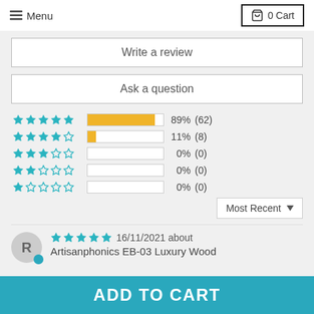Menu  0 Cart
Write a review
Ask a question
[Figure (bar-chart): Star rating distribution]
Most Recent
16/11/2021 about Artisanphonics EB-03 Luxury Wood
ADD TO CART